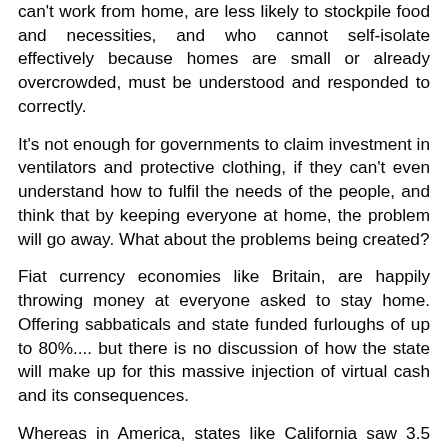can't work from home, are less likely to stockpile food and necessities, and who cannot self-isolate effectively because homes are small or already overcrowded, must be understood and responded to correctly.
It's not enough for governments to claim investment in ventilators and protective clothing, if they can't even understand how to fulfil the needs of the people, and think that by keeping everyone at home, the problem will go away. What about the problems being created?
Fiat currency economies like Britain, are happily throwing money at everyone asked to stay home. Offering sabbaticals and state funded furloughs of up to 80%.... but there is no discussion of how the state will make up for this massive injection of virtual cash and its consequences.
Whereas in America, states like California saw 3.5 million people register as unemployed in less than a week, but still the Trump administration denies the obvious spread of the virus and publicly play with the truth to deflect from their responsibility to the people, so as to protect the economy instead.